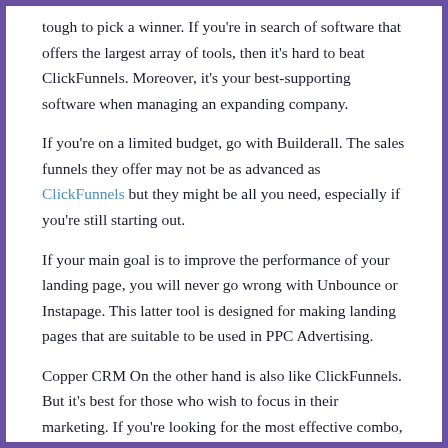tough to pick a winner. If you're in search of software that offers the largest array of tools, then it's hard to beat ClickFunnels. Moreover, it's your best-supporting software when managing an expanding company.
If you're on a limited budget, go with Builderall. The sales funnels they offer may not be as advanced as ClickFunnels but they might be all you need, especially if you're still starting out.
If your main goal is to improve the performance of your landing page, you will never go wrong with Unbounce or Instapage. This latter tool is designed for making landing pages that are suitable to be used in PPC Advertising.
Copper CRM On the other hand is also like ClickFunnels. But it's best for those who wish to focus in their marketing. If you're looking for the most effective combo, ClickFunnels and Copper CRM are the perfect team.